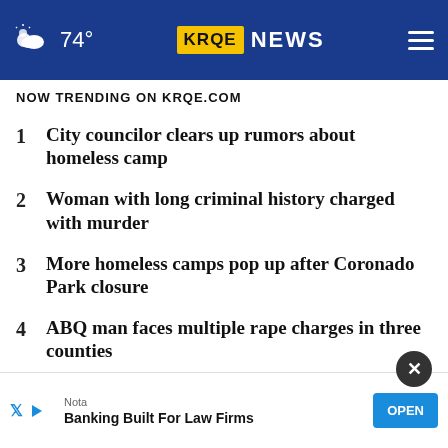74° KRQE NEWS
NOW TRENDING ON KRQE.COM
1 City councilor clears up rumors about homeless camp
2 Woman with long criminal history charged with murder
3 More homeless camps pop up after Coronado Park closure
4 ABQ man faces multiple rape charges in three counties
5 Neighbors concerned after cov... a...
6 Woman charged with stealing from...
[Figure (screenshot): Advertisement overlay: Nota - Banking Built For Law Firms, with OPEN button and close (X) button]